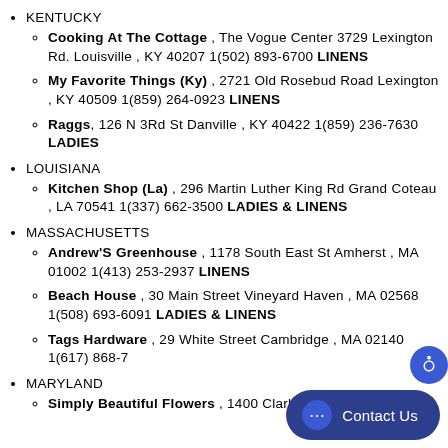KENTUCKY
Cooking At The Cottage , The Vogue Center 3729 Lexington Rd. Louisville , KY 40207 1(502) 893-6700 LINENS
My Favorite Things (Ky) , 2721 Old Rosebud Road Lexington , KY 40509 1(859) 264-0923 LINENS
Raggs, 126 N 3Rd St Danville , KY 40422 1(859) 236-7630 LADIES
LOUISIANA
Kitchen Shop (La) , 296 Martin Luther King Rd Grand Coteau , LA 70541 1(337) 662-3500 LADIES & LINENS
MASSACHUSETTS
Andrew'S Greenhouse , 1178 South East St Amherst , MA 01002 1(413) 253-2937 LINENS
Beach House , 30 Main Street Vineyard Haven , MA 02568 1(508) 693-6091 LADIES & LINENS
Tags Hardware , 29 White Street Cambridge , MA 02140 1(617) 868-7…
MARYLAND
Simply Beautiful Flowers , 1400 Clarkview Rd…